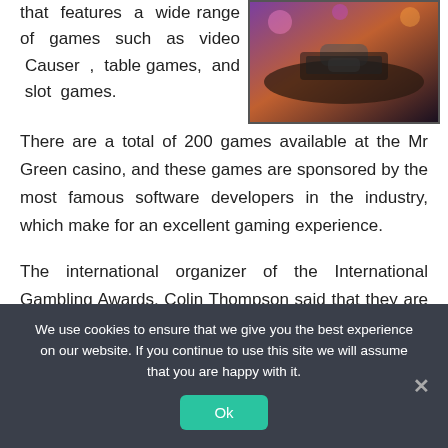that features a wide range of games such as video Causer , table games, and slot games.
[Figure (photo): Photo of a casino table/gaming scene with purple and orange lighting, person's hands visible near gaming equipment]
There are a total of 200 games available at the Mr Green casino, and these games are sponsored by the most famous software developers in the industry, which make for an excellent gaming experience.
The international organizer of the International Gambling Awards, Colin Thompson said that they are happy to have the famous casino Mr Green as a charity sponsor.
We use cookies to ensure that we give you the best experience on our website. If you continue to use this site we will assume that you are happy with it.